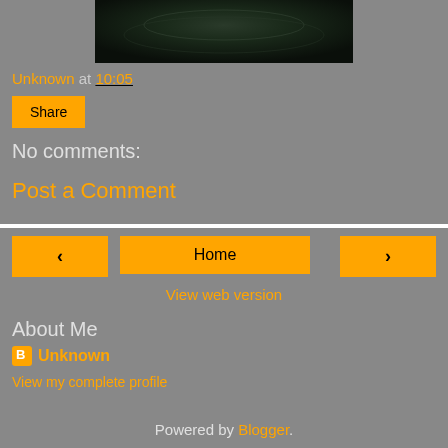[Figure (photo): Dark underwater or textured photo at top of page]
Unknown at 10:05
Share
No comments:
Post a Comment
< Home >
View web version
About Me
Unknown
View my complete profile
Powered by Blogger.